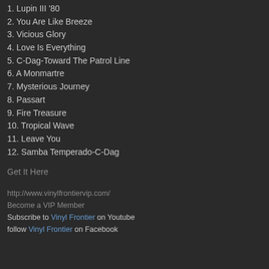1. Lupin III '80
2. You Are Like Breeze
3. Vicious Glory
4. Love Is Everything
5. C-Dag-Toward The Patrol Line
6. A Monmartre
7. Mysterious Journey
8. Passart
9. Fire Treasure
10. Tropical Wave
11. Leave You
12. Samba Temperado-C-Dag
Get It Here
http://www.vinylfrontiervip.com/
Become a VIP Member
Subscribe to Vinyl Frontier on Youtube
follow Vinyl Frontier on Facebook